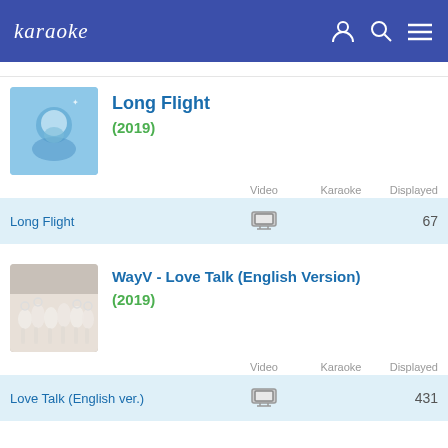karaoke
Long Flight
(2019)
|  | Video | Karaoke | Displayed |
| --- | --- | --- | --- |
| Long Flight | 📺 |  | 67 |
WayV - Love Talk (English Version)
(2019)
|  | Video | Karaoke | Displayed |
| --- | --- | --- | --- |
| Love Talk (English ver.) | 📺 |  | 431 |